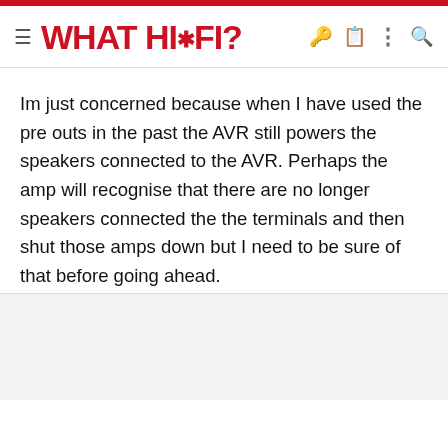WHAT HI·FI?
Im just concerned because when I have used the pre outs in the past the AVR still powers the speakers connected to the AVR. Perhaps the amp will recognise that there are no longer speakers connected the the terminals and then shut those amps down but I need to be sure of that before going ahead.